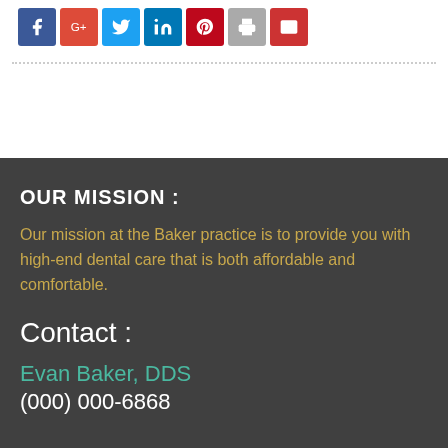[Figure (other): Social sharing icons: Facebook (blue), Google+ (red), Twitter (light blue), LinkedIn (dark blue), Pinterest (red), Print (gray), Email (red)]
OUR MISSION :
Our mission at the Baker practice is to provide you with high-end dental care that is both affordable and comfortable.
Contact :
Evan Baker, DDS
(000) 000-6868